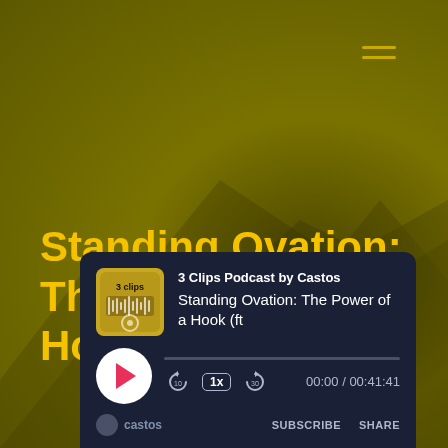[Figure (screenshot): Podcast web player screenshot with dark olive/golden background showing mountains silhouette]
Standing Ovation: The Power of a Hook (ft. Jay Baer)
[Figure (screenshot): Audio player card showing 3 Clips Podcast by Castos, with play button, progress bar, rewind/speed/skip controls, time 00:00 / 00:41:41, subscribe and share buttons]